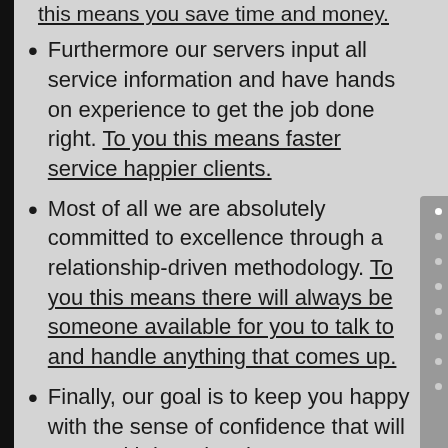Furthermore our servers input all service information and have hands on experience to get the job done right. To you this means faster service happier clients.
Most of all we are absolutely committed to excellence through a relationship-driven methodology. To you this means there will always be someone available for you to talk to and handle anything that comes up.
Finally, our goal is to keep you happy with the sense of confidence that will come with knowing that your services are in professional hands.
855-5VALPRO